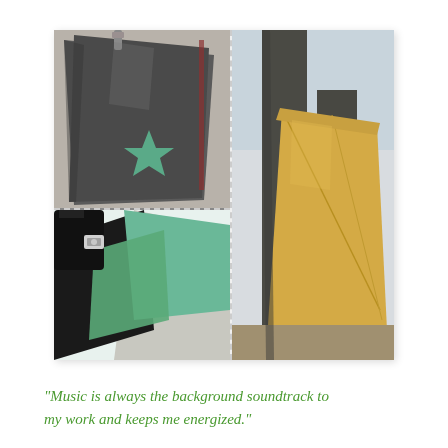[Figure (photo): A collage of three photos showing handmade fabric bags. Top-left: a gray triangular shoulder bag with a green leaf/star fabric patch sewn on front. Bottom-left: a close-up of a green and black bag with a silver clasp/buckle detail. Right (tall): a person wearing dark pants holding a yellow/mustard soft leather or fabric hobo-style bag at their side.]
"Music is always the background soundtrack to my work and keeps me energized."